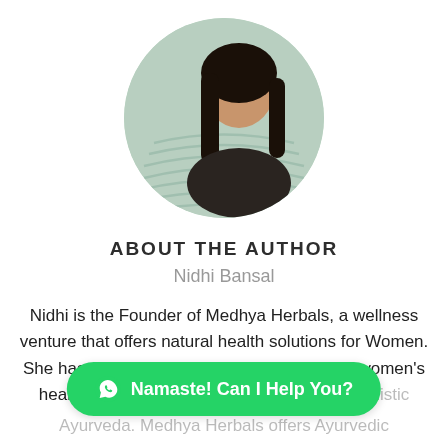[Figure (photo): Circular portrait photo of Nidhi Bansal with a green/mint striped circular background]
ABOUT THE AUTHOR
Nidhi Bansal
Nidhi is the Founder of Medhya Herbals, a wellness venture that offers natural health solutions for Women. She has set on a mission to solve & simplify women's health care problems with an Ancient and Holistic Ayurveda. Medhya Herbals offers Ayurvedic
[Figure (other): WhatsApp chat button with green background reading 'Namaste! Can I Help You?']